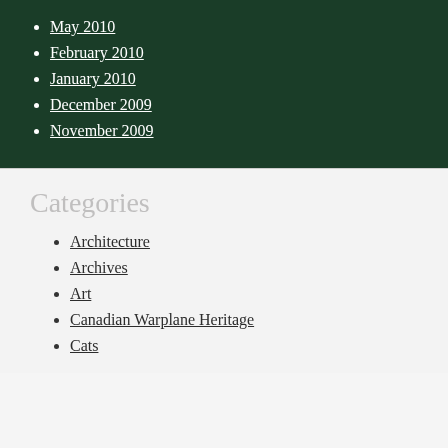May 2010
February 2010
January 2010
December 2009
November 2009
Categories
Architecture
Archives
Art
Canadian Warplane Heritage
Cats